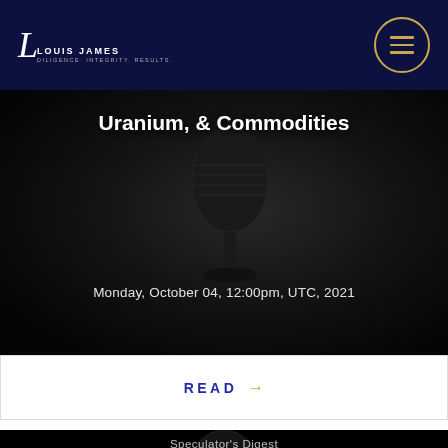Louis James — Diligence. Integrity. Results.
Uranium, & Commodities
Monday, October 04, 12:00pm, UTC, 2021
READ →
Speculator's Digest
Deep Dive Live Q&A on Silver, Gold,